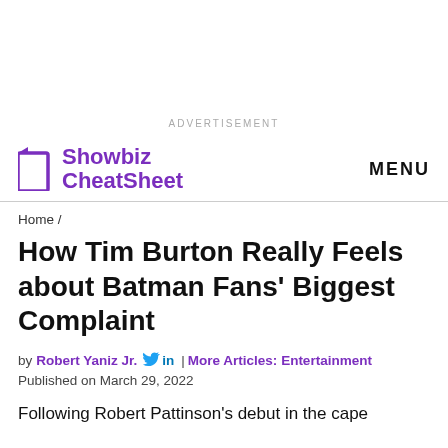ADVERTISEMENT
Showbiz CheatSheet | MENU
Home /
How Tim Burton Really Feels about Batman Fans' Biggest Complaint
by Robert Yaniz Jr. [twitter] in | More Articles: Entertainment
Published on March 29, 2022
Following Robert Pattinson's debut in the cape